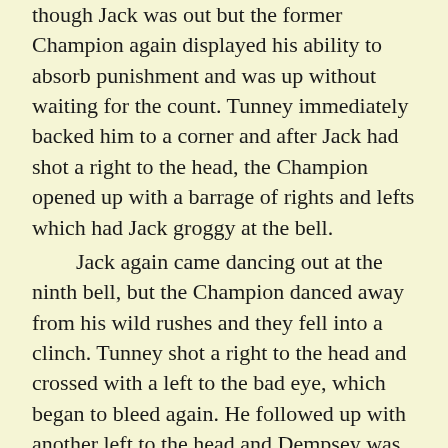though Jack was out but the former Champion again displayed his ability to absorb punishment and was up without waiting for the count. Tunney immediately backed him to a corner and after Jack had shot a right to the head, the Champion opened up with a barrage of rights and lefts which had Jack groggy at the bell. Jack again came dancing out at the ninth bell, but the Champion danced away from his wild rushes and they fell into a clinch. Tunney shot a right to the head and crossed with a left to the bad eye, which began to bleed again. He followed up with another left to the head and Dempsey was forced into a clinch. When the referee had broken them apart, Tunney whipped over another right to the jaw, and, as Jack staggered back, opened up the other eye